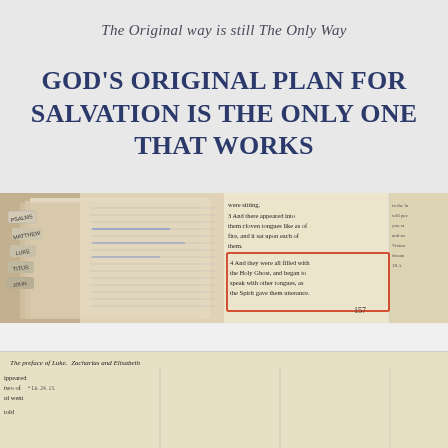The Original way is still The Only Way
GOD'S ORIGINAL PLAN FOR SALVATION IS THE ONLY ONE THAT WORKS
[Figure (photo): Left: Bible tabs with book names (PSALMS, MATTHEW, TITUS etc.) visible on stacked Bible pages. Center: Open Bible pages showing text columns.]
[Figure (photo): Right portion: Close-up of Bible text showing Acts 2 passage about cloven tongues of fire and Holy Ghost, with verse 4 highlighted in red box: 'And they were all filled with the Holy Ghost, and began to speak with other tongues, as the Spirit gave them utterance.' Page number 157 visible.]
[Figure (photo): Bottom: Aged Bible page showing 'The preface of Luke. Zacharias and Elisabeth' header. Text includes: 'that believeth not shall be damned.' with Lk.10:20 in red, '17 And these signs shall follow them that believe; In my name shall they cast out devils; they shall speak with new tongues;' underlined in red, with Mr 12, 26 reference in red. Left column shows partial text with appeared, two of, ad went, told, er be- and references to Lk.24.13, Ac.5.26, Ac.16.18, Ac.19.12, Ac.2.4.]